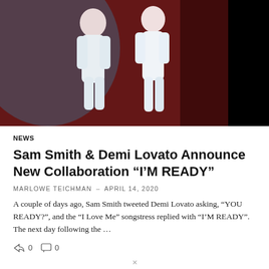[Figure (photo): Two people in white outfits posing against a dark red/maroon background, with a black sidebar on the right displaying 'SMITH & LO' in large white vertical text.]
NEWS
Sam Smith & Demi Lovato Announce New Collaboration “I’M READY”
MARLOWE TEICHMAN – APRIL 14, 2020
A couple of days ago, Sam Smith tweeted Demi Lovato asking, “YOU READY?”, and the “I Love Me” songstress replied with “I’M READY”. The next day following the …
0  0